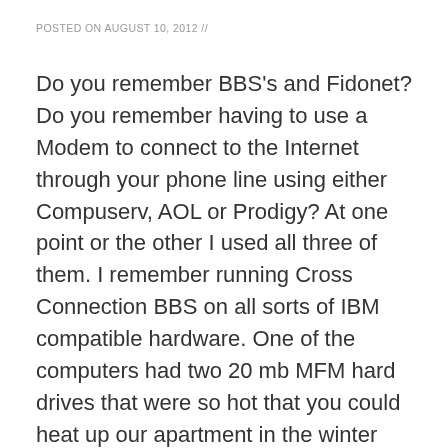POSTED ON AUGUST 10, 2012 //
Do you remember BBS's and Fidonet? Do you remember having to use a Modem to connect to the Internet through your phone line using either Compuserv, AOL or Prodigy? At one point or the other I used all three of them. I remember running Cross Connection BBS on all sorts of IBM compatible hardware. One of the computers had two 20 mb MFM hard drives that were so hot that you could heat up our apartment in the winter time. I remember how much I loved to learn about DOS and software back in those days. I remember staying up all hours of the night doing backups and waiting for people to dial our BBS phone number and connect to our computer.
One of the services that I provided for my users was the ability to download feeware software files, and to